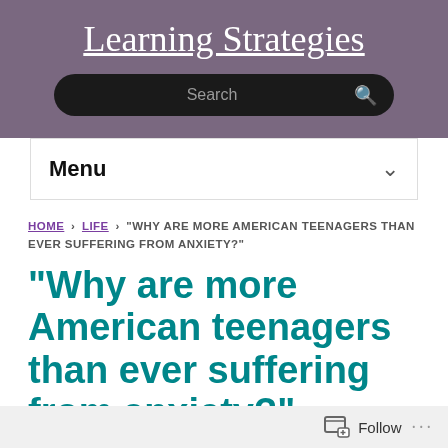Learning Strategies
Search
Menu
HOME › LIFE › "WHY ARE MORE AMERICAN TEENAGERS THAN EVER SUFFERING FROM ANXIETY?"
“Why are more American teenagers than ever suffering from anxiety?”